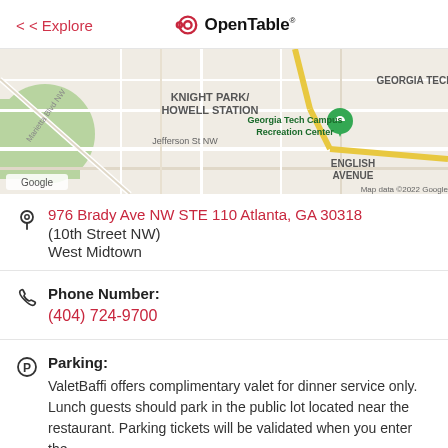< Explore | OpenTable
[Figure (map): Google Map showing Knight Park/Howell Station, Georgia Tech area, Georgia Tech Campus Recreation Center marker, English Avenue, Jefferson St NW, Marietta Blvd NW. Map data ©2022 Google.]
976 Brady Ave NW STE 110 Atlanta, GA 30318
(10th Street NW)
West Midtown
Phone Number:
(404) 724-9700
Parking:
ValetBaffi offers complimentary valet for dinner service only. Lunch guests should park in the public lot located near the restaurant. Parking tickets will be validated when you enter the